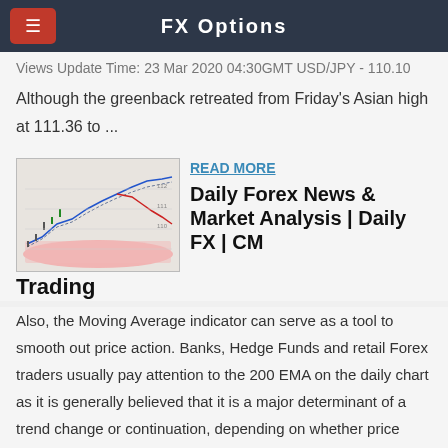FX Options
Views Update Time: 23 Mar 2020 04:30GMT USD/JPY - 110.10
Although the greenback retreated from Friday's Asian high at 111.36 to ...
[Figure (screenshot): Forex chart showing moving averages and price action with red shaded areas]
READ MORE
Daily Forex News & Market Analysis | Daily FX | CM Trading
Also, the Moving Average indicator can serve as a tool to smooth out price action. Banks, Hedge Funds and retail Forex traders usually pay attention to the 200 EMA on the daily chart as it is generally believed that it is a major determinant of a trend change or continuation, depending on whether price penetrates it or bounces on it.
[Figure (screenshot): Small thumbnail of another forex chart article]
READ MORE